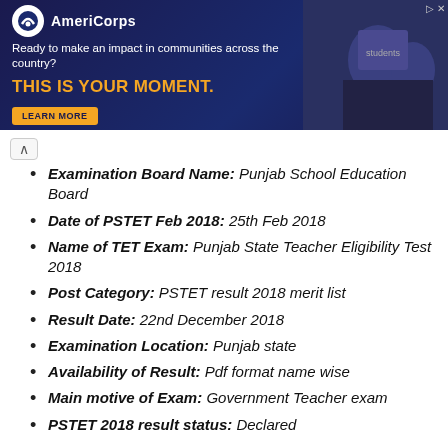[Figure (other): AmeriCorps advertisement banner with dark blue background, logo, tagline 'Ready to make an impact in communities across the country?', headline 'THIS IS YOUR MOMENT.' in orange, LEARN MORE button, and a photo of students on the right.]
Examination Board Name: Punjab School Education Board
Date of PSTET Feb 2018: 25th Feb 2018
Name of TET Exam: Punjab State Teacher Eligibility Test 2018
Post Category: PSTET result 2018 merit list
Result Date: 22nd December 2018
Examination Location: Punjab state
Availability of Result: Pdf format name wise
Main motive of Exam: Government Teacher exam
PSTET 2018 result status: Declared